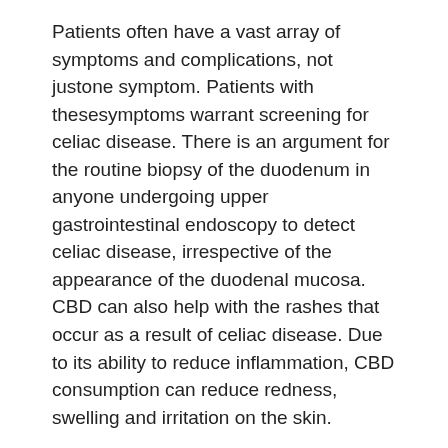Patients often have a vast array of symptoms and complications, not justone symptom. Patients with thesesymptoms warrant screening for celiac disease. There is an argument for the routine biopsy of the duodenum in anyone undergoing upper gastrointestinal endoscopy to detect celiac disease, irrespective of the appearance of the duodenal mucosa. CBD can also help with the rashes that occur as a result of celiac disease. Due to its ability to reduce inflammation, CBD consumption can reduce redness, swelling and irritation on the skin.
The celiac disease symptom checklist is a comprehensive list of symptoms and scenarios that are associated with celiac disease. This checklist is a reminder to celiac disease patients about their symptoms and also a way to illicit symptoms from people who think they may have celiac disease. People with this form may not show signs of problems absorbing nutrients, but they do have